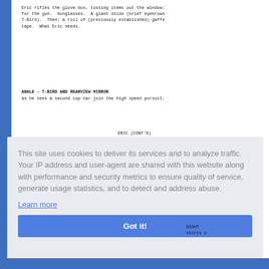Eric rifles the glove box, tossing items out the window:
for the gun.  Sunglasses.  A giant dildo (brief eyebrows
T-Bird).  Then: a roll of (previously established) gaffe
tape.  What Eric needs.
ANGLE - T-BIRD AND REARVIEW MIRROR
as he sees a second cop car join the high speed pursuit,
ERIC (CONT'D)
[Figure (screenshot): Cookie consent dialog overlay with gray background. Text reads: 'This site uses cookies to deliver its services and to analyze traffic. Your IP address and user-agent are shared with this website along with performance and security metrics to ensure quality of service, generate usage statistics, and to detect and address abuse.' with a 'Learn more' link and a blue 'Got it!' button.]
NIGHT
skirts o